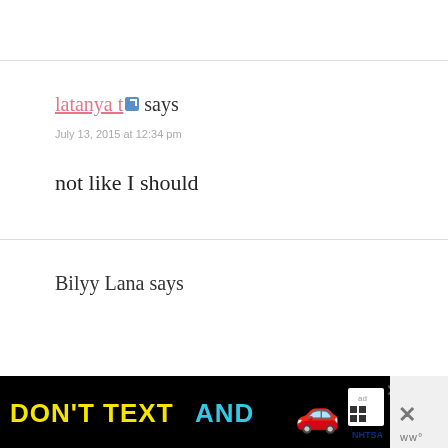latanya t says
July 13, 2015 at 12:34 pm
not like I should
Bilyy Lana says
[Figure (screenshot): Advertisement banner: DON'T TEXT AND (car emoji) with ad and NHTSA branding, with close X button]